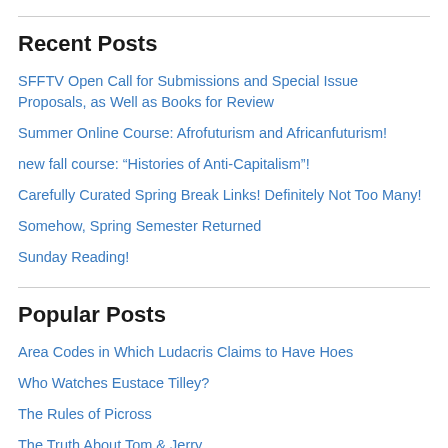Recent Posts
SFFTV Open Call for Submissions and Special Issue Proposals, as Well as Books for Review
Summer Online Course: Afrofuturism and Africanfuturism!
new fall course: “Histories of Anti-Capitalism”!
Carefully Curated Spring Break Links! Definitely Not Too Many!
Somehow, Spring Semester Returned
Sunday Reading!
Popular Posts
Area Codes in Which Ludacris Claims to Have Hoes
Who Watches Eustace Tilley?
The Rules of Picross
The Truth About Tom & Jerry
‘God is weak and powerless in the world, and that is exactly the way, the only way, in which he can be with us and help us.’